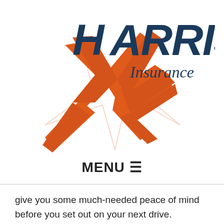[Figure (logo): Harris Insurance logo featuring stylized dark blue text 'HARRIS' with an orange lightning bolt star graphic and italic 'Insurance' text]
MENU≡
give you some much-needed peace of mind before you set out on your next drive.